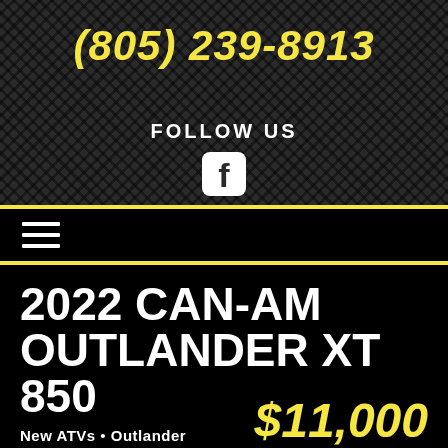(805) 239-8913
FOLLOW US
[Figure (logo): Facebook icon - white rounded square with F logo]
[Figure (other): Hamburger menu icon - three white horizontal lines]
2022 CAN-AM OUTLANDER XT 850
New ATVs • Outlander
CALL NOW
$11,000